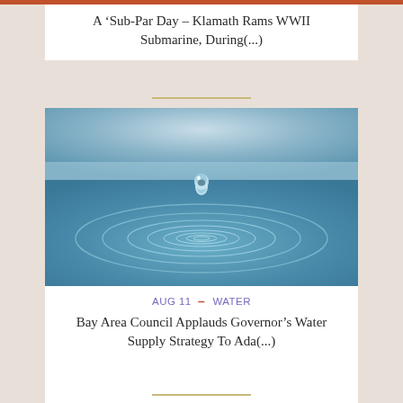A ‘Sub‑Par Day – Klamath Rams WWII Submarine, During(...)
[Figure (photo): Close-up photograph of a single water droplet suspended above concentric ripple circles on a blue water surface, shot from a low angle with a blurred horizon.]
AUG 11 - WATER
Bay Area Council Applauds Governor’s Water Supply Strategy To Ada(...)